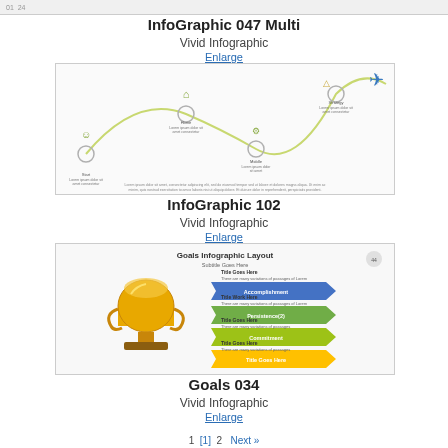01  24
InfoGraphic 047 Multi
Vivid Infographic
Enlarge
[Figure (infographic): A journey/process infographic with a wavy path, icons (person, house, gears, airplane, tree) and small text labels at each milestone point. A blue airplane icon is at the top right endpoint.]
InfoGraphic 102
Vivid Infographic
Enlarge
[Figure (infographic): Goals Infographic Layout with a gold trophy on the left and four colorful arrow-shaped progress bars (blue: Accomplishment, green: Persistence, olive: Commitment, orange: Title Goes Here) with text descriptions to the right of each arrow.]
Goals 034
Vivid Infographic
Enlarge
1  [1]  2   Next »